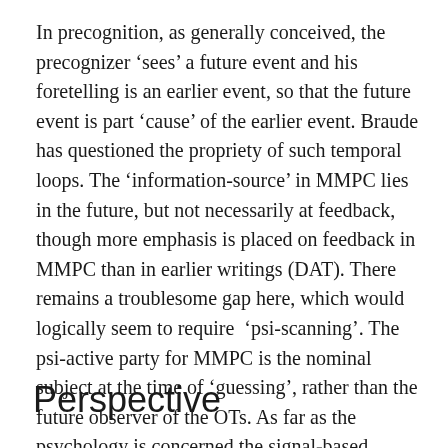In precognition, as generally conceived, the precognizer 'sees' a future event and his foretelling is an earlier event, so that the future event is part 'cause' of the earlier event. Braude has questioned the propriety of such temporal loops. The 'information-source' in MMPC lies in the future, but not necessarily at feedback, though more emphasis is placed on feedback in MMPC than in earlier writings (DAT). There remains a troublesome gap here, which would logically seem to require  'psi-scanning'. The psi-active party for MMPC is the nominal subject at the time of 'guessing', rather than the future observer of the OTs. As far as the psychology is concerned the signal-based MMPC has its own psi receptor and cognitive processing housed in the participant, just like Rhineanism.
Perspective